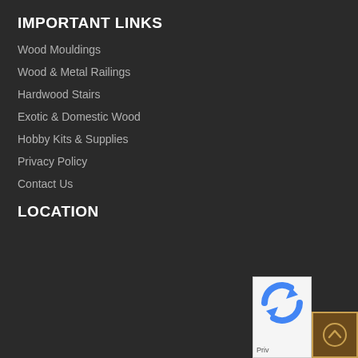IMPORTANT LINKS
Wood Mouldings
Wood & Metal Railings
Hardwood Stairs
Exotic & Domestic Wood
Hobby Kits & Supplies
Privacy Policy
Contact Us
LOCATION
[Figure (other): reCAPTCHA widget partially visible in bottom right corner with blue circular arrows logo and 'Priv' text visible]